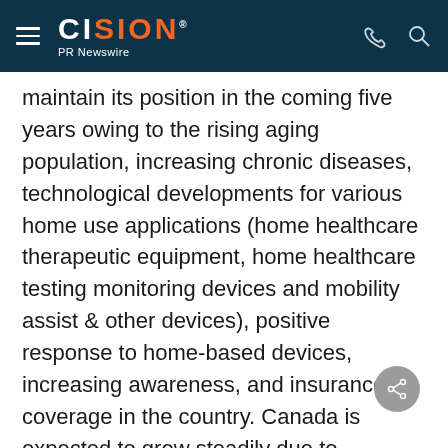CISION PR Newswire
maintain its position in the coming five years owing to the rising aging population, increasing chronic diseases, technological developments for various home use applications (home healthcare therapeutic equipment, home healthcare testing monitoring devices and mobility assist & other devices), positive response to home-based devices, increasing awareness, and insurance coverage in the country. Canada is expected to grow steadily due to increasing awareness regarding home-based devices and increasing prevalence of lifestyle diseases such as diabetes, obesity, and cardiovascular diseases and various initiatives taken by government.